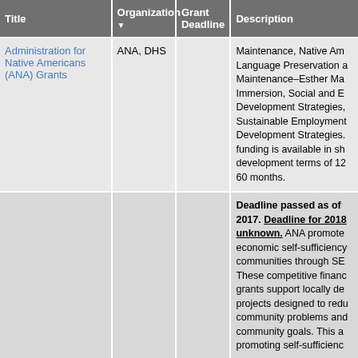| Title | Organization ▼ | Grant Deadline | Description |
| --- | --- | --- | --- |
| Administration for Native Americans (ANA) Grants | ANA, DHS |  | Maintenance, Native American Language Preservation and Maintenance–Esther Martinez Immersion, Social and Economic Development Strategies, Sustainable Employment Development Strategies. funding is available in short development terms of 12 60 months. |
|  |  |  | Deadline passed as of 2017. Deadline for 2018 unknown. ANA promotes economic self-sufficiency communities through SE These competitive financ grants support locally de projects designed to redu community problems and community goals. This a promoting self-sufficienc |